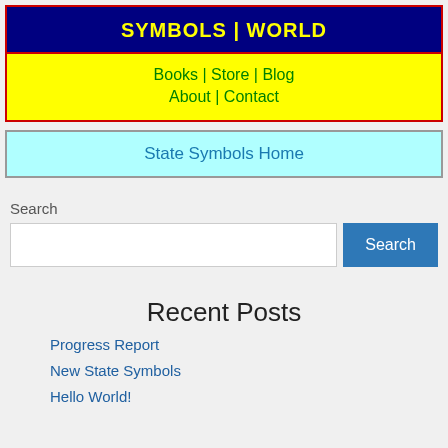SYMBOLS | WORLD
Books | Store | Blog
About | Contact
State Symbols Home
Search
Recent Posts
Progress Report
New State Symbols
Hello World!